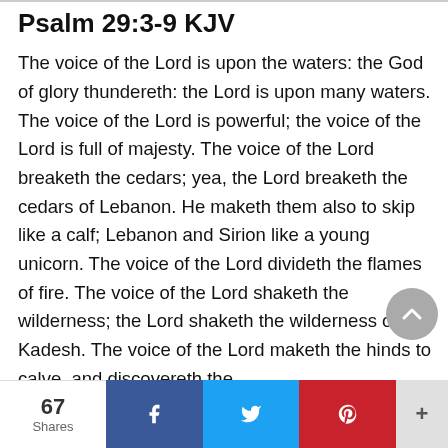Psalm 29:3-9 KJV
The voice of the Lord is upon the waters: the God of glory thundereth: the Lord is upon many waters. The voice of the Lord is powerful; the voice of the Lord is full of majesty. The voice of the Lord breaketh the cedars; yea, the Lord breaketh the cedars of Lebanon. He maketh them also to skip like a calf; Lebanon and Sirion like a young unicorn. The voice of the Lord divideth the flames of fire. The voice of the Lord shaketh the wilderness; the Lord shaketh the wilderness of Kadesh. The voice of the Lord maketh the hinds to calve, and discovereth the
67 Shares | Facebook | Twitter | Pinterest | +